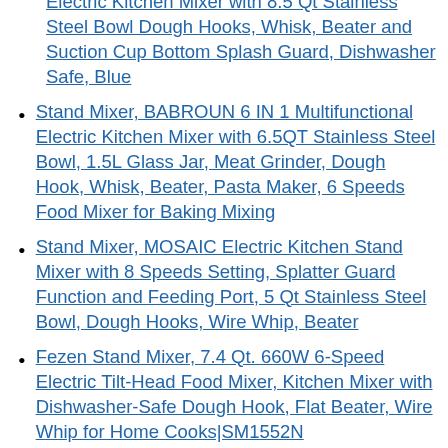Electric Kitchen Mixer with 8.5 Qt Stainless Steel Bowl Dough Hooks, Whisk, Beater and Suction Cup Bottom Splash Guard, Dishwasher Safe, Blue
Stand Mixer, BABROUN 6 IN 1 Multifunctional Electric Kitchen Mixer with 6.5QT Stainless Steel Bowl, 1.5L Glass Jar, Meat Grinder, Dough Hook, Whisk, Beater, Pasta Maker, 6 Speeds Food Mixer for Baking Mixing
Stand Mixer, MOSAIC Electric Kitchen Stand Mixer with 8 Speeds Setting, Splatter Guard Function and Feeding Port, 5 Qt Stainless Steel Bowl, Dough Hooks, Wire Whip, Beater
Fezen Stand Mixer, 7.4 Qt. 660W 6-Speed Electric Tilt-Head Food Mixer, Kitchen Mixer with Dishwasher-Safe Dough Hook, Flat Beater, Wire Whip for Home Cooks|SM1552N
Deceptive Desserts: A Lady's Guide to Baking Bad!